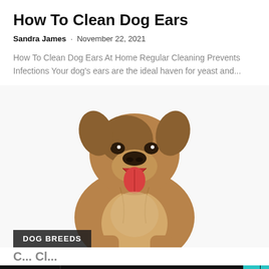How To Clean Dog Ears
Sandra James · November 22, 2021
How To Clean Dog Ears At Home Regular Cleaning Prevents Infections Your dog's ears are the ideal haven for yeast and...
[Figure (photo): A Shiba Inu dog sitting with mouth open and tongue out, on white background. A dark label reads 'DOG BREEDS' in the bottom left of the image.]
Search for
1. Pet Puppies for Free
2. Dog Grooming Courses